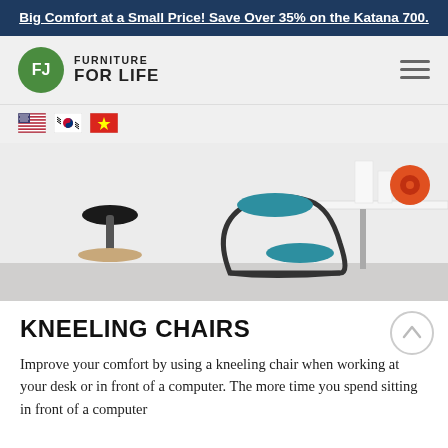Big Comfort at a Small Price! Save Over 35% on the Katana 700.
[Figure (logo): Furniture For Life logo with green circle FJ icon and bold text FURNITURE FOR LIFE]
[Figure (photo): Product photo showing a black saddle stool on wooden base and a teal/dark kneeling chair on a light background with a desk visible]
KNEELING CHAIRS
Improve your comfort by using a kneeling chair when working at your desk or in front of a computer. The more time you spend sitting in front of a computer...